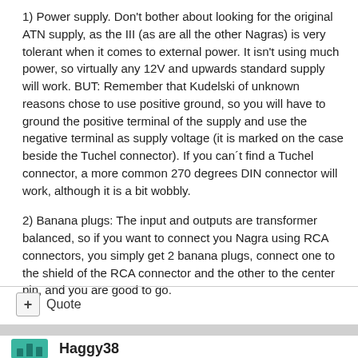1) Power supply. Don't bother about looking for the original ATN supply, as the III (as are all the other Nagras) is very tolerant when it comes to external power. It isn't using much power, so virtually any 12V and upwards standard supply will work. BUT: Remember that Kudelski of unknown reasons chose to use positive ground, so you will have to ground the positive terminal of the supply and use the negative terminal as supply voltage (it is marked on the case beside the Tuchel connector). If you can´t find a Tuchel connector, a more common 270 degrees DIN connector will work, although it is a bit wobbly.
2) Banana plugs: The input and outputs are transformer balanced, so if you want to connect you Nagra using RCA connectors, you simply get 2 banana plugs, connect one to the shield of the RCA connector and the other to the center pin, and you are good to go.
+ Quote
Haggy38